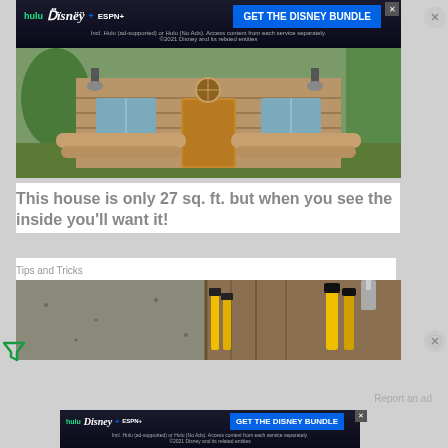[Figure (other): Disney Bundle advertisement banner with Hulu, Disney+, ESPN+ logos and blue CTA button saying GET THE DISNEY BUNDLE]
[Figure (photo): Exterior photo of a small rustic log cabin with wooden steps and a circular window above the door]
This house is only 27 sq. ft. but when you see the inside you'll want it!
Tips and Tricks
[Figure (photo): Photo showing concrete wall on left and wooden barn door with yellow tools/implements on the right]
Report an ad
[Figure (other): Disney Bundle advertisement banner with Hulu, Disney+, ESPN+ logos and blue CTA button saying GET THE DISNEY BUNDLE]